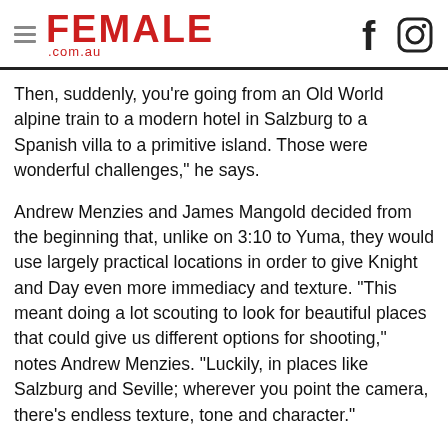FEMALE .com.au
Then, suddenly, you're going from an Old World alpine train to a modern hotel in Salzburg to a Spanish villa to a primitive island. Those were wonderful challenges," he says.
Andrew Menzies and James Mangold decided from the beginning that, unlike on 3:10 to Yuma, they would use largely practical locations in order to give Knight and Day even more immediacy and texture. "This meant doing a lot scouting to look for beautiful places that could give us different options for shooting," notes Andrew Menzies. "Luckily, in places like Salzburg and Seville; wherever you point the camera, there's endless texture, tone and character."
The production designer worked closely with Cathy Konrad, who often focuses on design elements. "James Mangold is